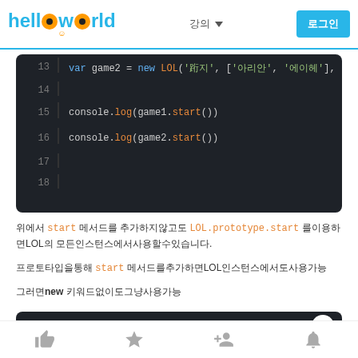helloworld
[Figure (screenshot): Code editor screenshot showing lines 13-18 of JavaScript code: var game2 = new LOL(...), console.log(game1.start()), console.log(game2.start())]
위에서 start 메서드를 추가하지않고도 LOL.prototype.start 를 이용하면LOL의 모든인스턴스에서 사용할 수 있습니다.
프로토타입을통해 start 메서드를추가하면LOL인스턴스에서도사용가능
그러면new 키워드없이도그냥사용가능
[Figure (screenshot): Code editor screenshot showing line 1: function LOL(maps, heros, soldier, mo...]